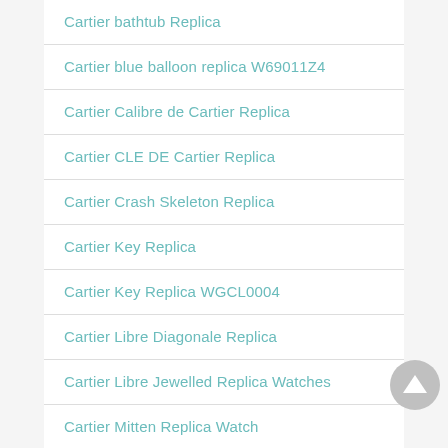Cartier bathtub Replica
Cartier blue balloon replica W69011Z4
Cartier Calibre de Cartier Replica
Cartier CLE DE Cartier Replica
Cartier Crash Skeleton Replica
Cartier Key Replica
Cartier Key Replica WGCL0004
Cartier Libre Diagonale Replica
Cartier Libre Jewelled Replica Watches
Cartier Mitten Replica Watch